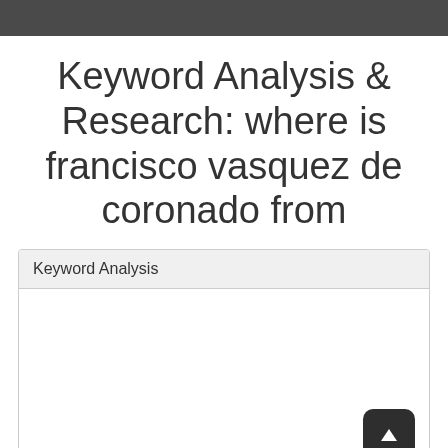Keyword Analysis & Research: where is francisco vasquez de coronado from
| Keyword Analysis |
| --- |